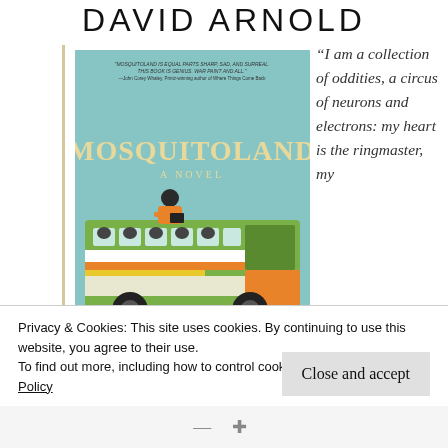DAVID ARNOLD
[Figure (illustration): Book cover of 'Mosquitoland: A Novel' by David Arnold. Light blue background with illustration of a person in an orange jacket sitting on top of a green and white bus. Small print quote at the top of the cover reads 'MOSQUITOLAND IS EQUAL PARTS SHARP, SAD, AND SURREAL. THIS BOOK IS GENIUS. WAR PAINT AND ALL. —John Corey Whaley, Printz-winning author of Where Things Come Back'. Large title text 'MOSQUITOLAND' in cream/beige letters. Subtitle 'A NOVEL' in smaller text.]
“I am a collection of oddities, a circus of neurons and electrons: my heart is the ringmaster, my
Privacy & Cookies: This site uses cookies. By continuing to use this website, you agree to their use.
To find out more, including how to control cookies, see here: Cookie Policy
Close and accept